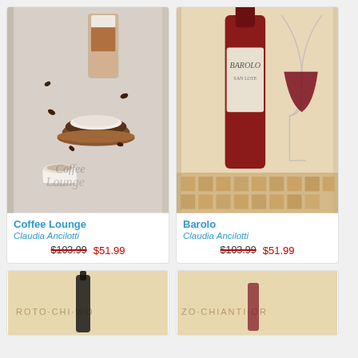[Figure (photo): Canvas print artwork showing coffee cups, latte glass, and coffee beans with cursive text 'Coffee Lounge']
Coffee Lounge
Claudia Ancilotti
$103.99  $51.99
[Figure (photo): Canvas print artwork showing Barolo wine bottle and red wine glass with checkered tile foreground]
Barolo
Claudia Ancilotti
$103.99  $51.99
[Figure (photo): Canvas print artwork with wine bottle and text ROTO CHIANTI on cream background]
[Figure (photo): Canvas print artwork with wine theme and text CHIANTI on cream background]